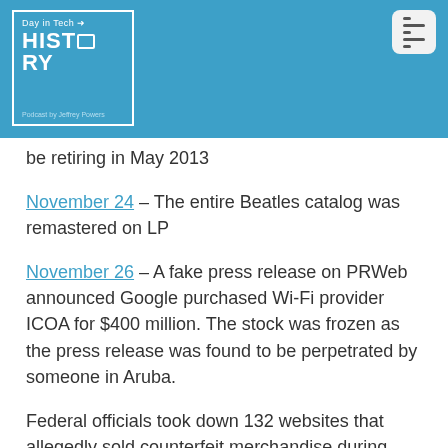[Figure (logo): Day in Tech HISTORY podcast logo — blue square with white border, text 'Day in Tech HISTORY' with monitor icon, 'Podcast by Jeffrey Powers' at bottom]
be retiring in May 2013
November 24 – The entire Beatles catalog was remastered on LP
November 26 – A fake press release on PRWeb announced Google purchased Wi-Fi provider ICOA for $400 million. The stock was frozen as the press release was found to be perpetrated by someone in Aruba.
Federal officials took down 132 websites that allegedly sold counterfeit merchandise during Cyber Monday.
November 29 – Apple launches iTunes 11 with a new